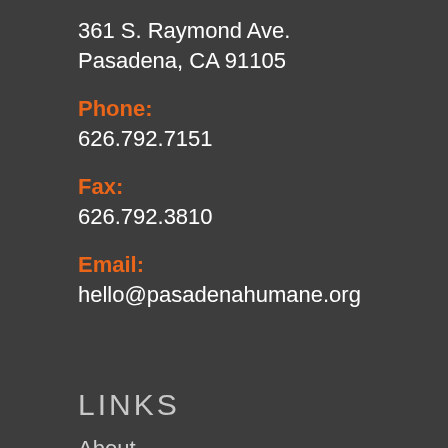361 S. Raymond Ave.
Pasadena, CA 91105
Phone:
626.792.7151
Fax:
626.792.3810
Email:
hello@pasadenahumane.org
LINKS
About